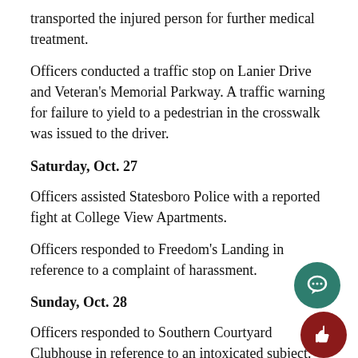transported the injured person for further medical treatment.
Officers conducted a traffic stop on Lanier Drive and Veteran's Memorial Parkway. A traffic warning for failure to yield to a pedestrian in the crosswalk was issued to the driver.
Saturday, Oct. 27
Officers assisted Statesboro Police with a reported fight at College View Apartments.
Officers responded to Freedom's Landing in reference to a complaint of harassment.
Sunday, Oct. 28
Officers responded to Southern Courtyard Clubhouse in reference to an intoxicated subject.   Kellan J. Seiwart, 7 years old, was arrested and charged with public drunken